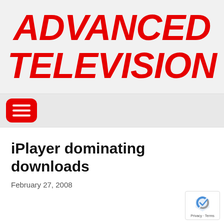ADVANCED TELEVISION
[Figure (logo): Advanced Television logo — bold red italic text reading ADVANCED TELEVISION on a light grey background]
[Figure (other): Red rounded rectangle hamburger/menu button with three white horizontal lines]
iPlayer dominating downloads
February 27, 2008
[Figure (other): reCAPTCHA badge with blue/grey logo and Privacy · Terms text]